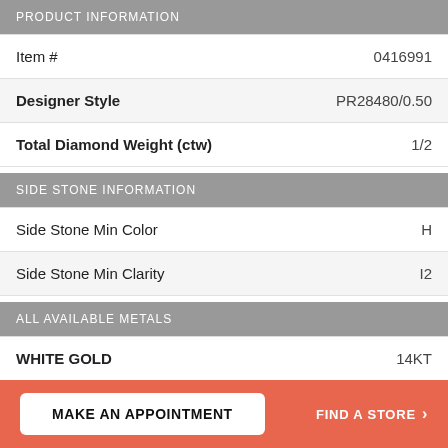PRODUCT INFORMATION
| Field | Value |
| --- | --- |
| Item # | 0416991 |
| Designer Style | PR28480/0.50 |
| Total Diamond Weight (ctw) | 1/2 |
SIDE STONE INFORMATION
| Field | Value |
| --- | --- |
| Side Stone Min Color | H |
| Side Stone Min Clarity | I2 |
ALL AVAILABLE METALS
| Field | Value |
| --- | --- |
| WHITE GOLD | 14KT |
MAKE AN APPOINTMENT
FIND A STORE